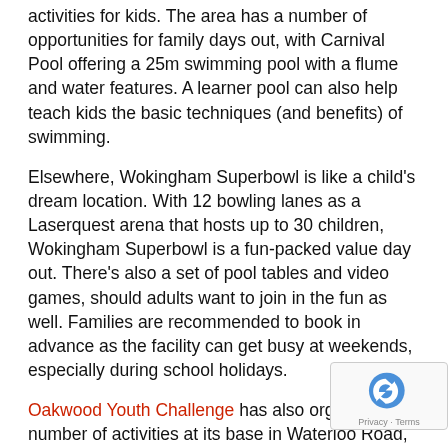activities for kids. The area has a number of opportunities for family days out, with Carnival Pool offering a 25m swimming pool with a flume and water features. A learner pool can also help teach kids the basic techniques (and benefits) of swimming.
Elsewhere, Wokingham Superbowl is like a child's dream location. With 12 bowling lanes as a Laserquest arena that hosts up to 30 children, Wokingham Superbowl is a fun-packed value day out. There's also a set of pool tables and video games, should adults want to join in the fun as well. Families are recommended to book in advance as the facility can get busy at weekends, especially during school holidays.
Oakwood Youth Challenge has also organised a number of activities at its base in Waterloo Road, Wokingham. Children can take part in up to five e activities led by qualified instructors. However, th activities aren't just for entertainment purposes; ki...